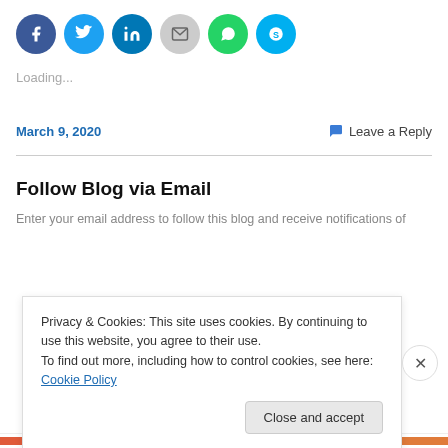[Figure (infographic): Row of six social media sharing icon circles: Facebook (blue), Twitter (light blue), LinkedIn (dark blue), Email (grey), WhatsApp (green), Skype (light blue)]
Loading...
March 9, 2020
Leave a Reply
Follow Blog via Email
Enter your email address to follow this blog and receive notifications of
Privacy & Cookies: This site uses cookies. By continuing to use this website, you agree to their use.
To find out more, including how to control cookies, see here: Cookie Policy
Close and accept